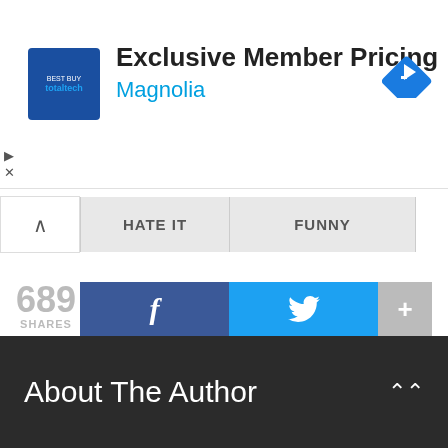[Figure (screenshot): Advertisement banner: Best Buy Total Tech logo (blue square), text 'Exclusive Member Pricing' in bold black and 'Magnolia' in blue, blue diamond arrow icon on right. Play and X icons on left edge.]
HATE IT   FUNNY
689 SHARES
[Figure (screenshot): Share buttons row: Facebook (dark blue with f icon), Twitter (cyan with bird icon), More (gray with + icon)]
[Figure (screenshot): Social share buttons: Tweet (blue pill), Like 1 (Facebook blue), Share 1 (Facebook blue), reddit (white with logo), WhatsApp (green)]
About The Author